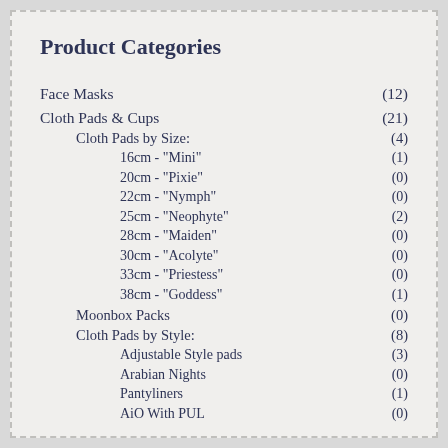Product Categories
Face Masks (12)
Cloth Pads & Cups (21)
Cloth Pads by Size: (4)
16cm - "Mini" (1)
20cm - "Pixie" (0)
22cm - "Nymph" (0)
25cm - "Neophyte" (2)
28cm - "Maiden" (0)
30cm - "Acolyte" (0)
33cm - "Priestess" (0)
38cm - "Goddess" (1)
Moonbox Packs (0)
Cloth Pads by Style: (8)
Adjustable Style pads (3)
Arabian Nights (0)
Pantyliners (1)
AiO With PUL (0)